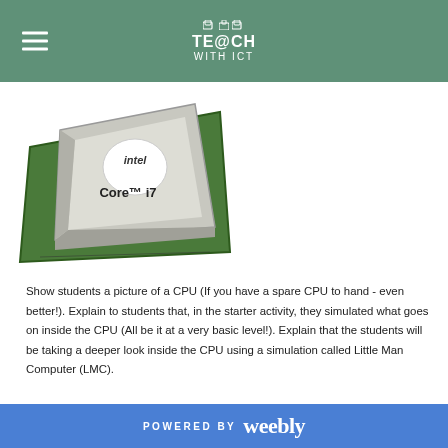TE@CH WITH ICT
[Figure (photo): Intel Core i7 CPU processor chip, photographed at an angle showing the top silver heatspreader with Intel Core i7 branding and the green PCB circuit board edge with pins.]
Show students a picture of a CPU (If you have a spare CPU to hand - even better!). Explain to students that, in the starter activity, they simulated what goes on inside the CPU (All be it at a very basic level!). Explain that the students will be taking a deeper look inside the CPU using a simulation called Little Man Computer (LMC).
POWERED BY weebly